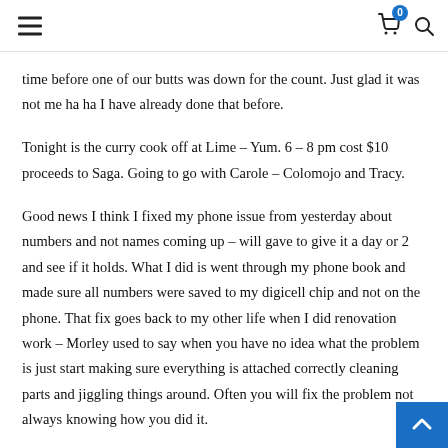≡  🛒 0  🔍
time before one of our butts was down for the count. Just glad it was not me ha ha I have already done that before.
Tonight is the curry cook off at Lime – Yum. 6 – 8 pm cost $10 proceeds to Saga. Going to go with Carole – Colomojo and Tracy.
Good news I think I fixed my phone issue from yesterday about numbers and not names coming up – will gave to give it a day or 2 and see if it holds. What I did is went through my phone book and made sure all numbers were saved to my digicell chip and not on the phone. That fix goes back to my other life when I did renovation work – Morley used to say when you have no idea what the problem is just start making sure everything is attached correctly cleaning parts and jiggling things around. Often you will fix the problem not always knowing how you did it.